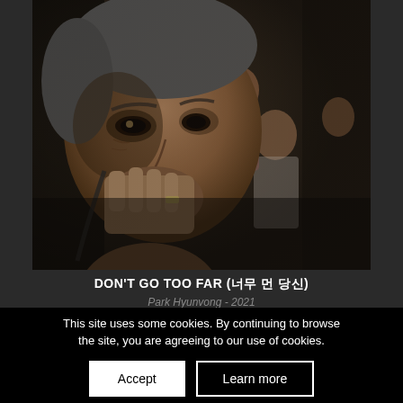[Figure (photo): A dark cinematic still from a Korean film showing several people in a tense scene. The foreground shows a middle-aged man with gray hair holding his hand to his mouth, wearing headphones around his neck. Behind him are several other people including a woman in a red top and a man in a white shirt, all appearing anxious or concerned.]
DON'T GO TOO FAR (너무 먼 당신)
Park Hyunvong - 2021
This site uses some cookies. By continuing to browse the site, you are agreeing to our use of cookies.
Accept
Learn more